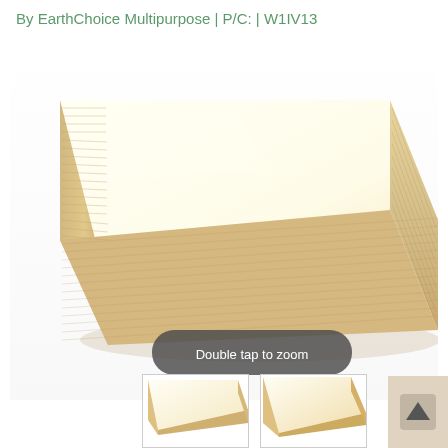By EarthChoice Multipurpose | P/C: | W1IV13
[Figure (photo): Stack of ivory/cream colored paper sheets, shot from an angle showing top surface and sides of the paper stack. A 'Double tap to zoom' button overlay is visible at the bottom of the image.]
[Figure (photo): Small thumbnail showing top view of ivory paper stack]
[Figure (photo): Small thumbnail showing angled view of cream/ivory paper]
[Figure (other): Scroll-to-top arrow button, dark beige background with upward arrow]